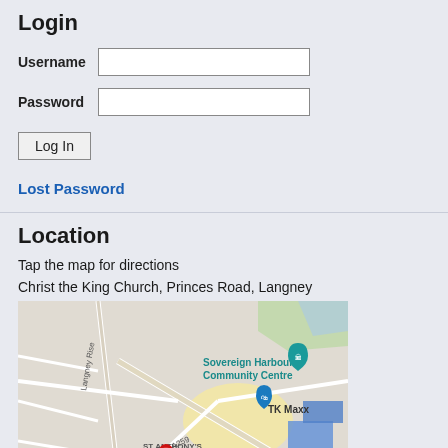Login
Username
Password
Log In
Lost Password
Location
Tap the map for directions
Christ the King Church, Princes Road, Langney
[Figure (map): Google Maps screenshot showing Langney area with Sovereign Harbour Community Centre, TK Maxx, A259 road, St Anthony's Hill, and a red location marker pin]